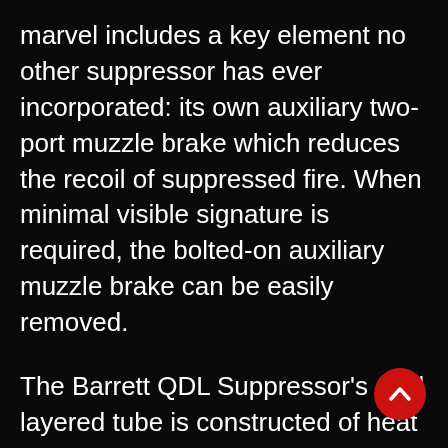marvel includes a key element no other suppressor has ever incorporated: its own auxiliary two-port muzzle brake which reduces the recoil of suppressed fire. When minimal visible signature is required, the bolted-on auxiliary muzzle brake can be easily removed.
The Barrett QDL Suppressor's dual layered tube is constructed of heat treated high strength alloys. This, combined with redundant 360 degree welding, makes it the safest large bore suppressor on the market.
[Figure (other): Red circular scroll-to-top button with a white chevron/arrow pointing upward]